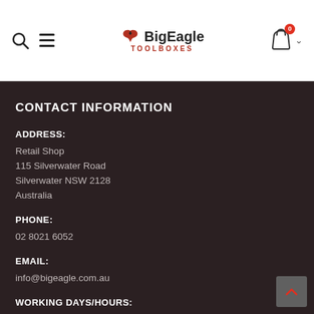BigEagle TOOLBOXES — navigation header with search, menu, logo, cart (0)
CONTACT INFORMATION
ADDRESS:
Retail Shop
115 Silverwater Road
Silverwater NSW 2128
Australia
PHONE:
02 8021 6052
EMAIL:
info@bigeagle.com.au
WORKING DAYS/HOURS: